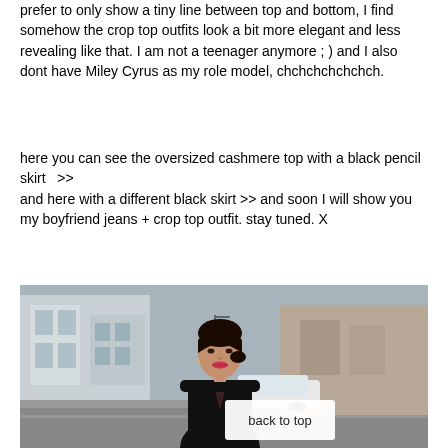prefer to only show a tiny line between top and bottom, I find somehow the crop top outfits look a bit more elegant and less revealing like that. I am not a teenager anymore ; ) and I also dont have Miley Cyrus as my role model, chchchchchchch.
here you can see the oversized cashmere top with a black pencil skirt  >> and here with a different black skirt >> and soon I will show you my boyfriend jeans + crop top outfit. stay tuned. X
[Figure (photo): A woman with dark hair pulled back, wearing a black blazer/jacket, standing on a street. Urban background with buildings, parked cars, and blurred street scene. A 'back to top' button overlays the bottom right of the image.]